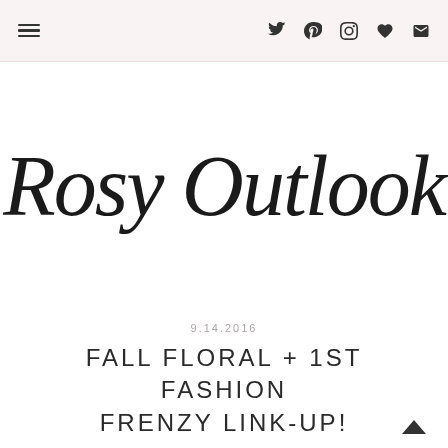Rosy Outlook — navigation header with menu icon and social icons (Twitter, Pinterest, Instagram, heart/Bloglovin, email)
[Figure (logo): Rosy Outlook blog logo in large cursive/script handwriting font]
9.14.2016
FALL FLORAL + 1ST FASHION FRENZY LINK-UP!